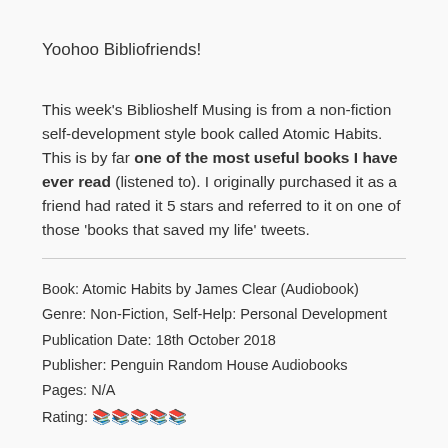Yoohoo Bibliofriends!
This week's Biblioshelf Musing is from a non-fiction self-development style book called Atomic Habits. This is by far one of the most useful books I have ever read (listened to). I originally purchased it as a friend had rated it 5 stars and referred to it on one of those 'books that saved my life' tweets.
Book: Atomic Habits by James Clear (Audiobook)
Genre: Non-Fiction, Self-Help: Personal Development
Publication Date: 18th October 2018
Publisher: Penguin Random House Audiobooks
Pages: N/A
Rating: 📚📚📚📚📚